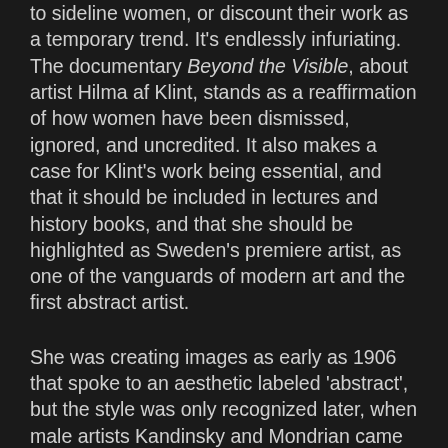to sideline women, or discount their work as a temporary trend. It's endlessly infuriating. The documentary Beyond the Visible, about artist Hilma af Klint, stands as a reaffirmation of how women have been dismissed, ignored, and uncredited. It also makes a case for Klint's work being essential, and that it should be included in lectures and history books, and that she should be highlighted as Sweden's premiere artist, as one of the vanguards of modern art and the first abstract artist.
She was creating images as early as 1906 that spoke to an aesthetic labeled 'abstract', but the style was only recognized later, when male artists Kandinsky and Mondrian came into prominence. Hilma af Klint just never got the recognition she deserved.